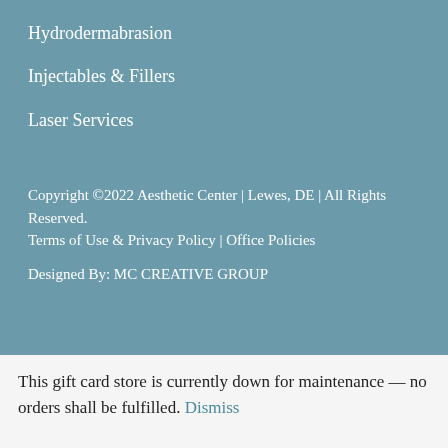Hydrodermabrasion
Injectables & Fillers
Laser Services
Copyright ©2022 Aesthetic Center | Lewes, DE | All Rights Reserved.
Terms of Use & Privacy Policy | Office Policies
Designed By: MC CREATIVE GROUP
This gift card store is currently down for maintenance — no orders shall be fulfilled. Dismiss